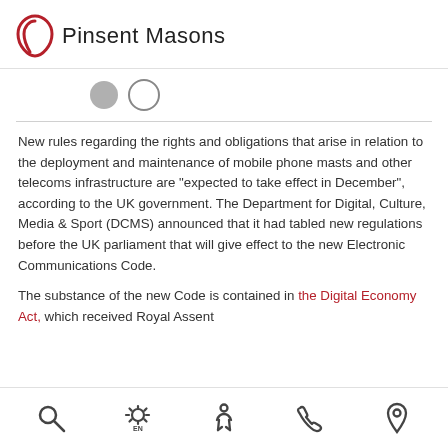Pinsent Masons
[Figure (other): Pagination dots: one filled grey circle and one empty circle outline]
New rules regarding the rights and obligations that arise in relation to the deployment and maintenance of mobile phone masts and other telecoms infrastructure are "expected to take effect in December", according to the UK government. The Department for Digital, Culture, Media & Sport (DCMS) announced that it had tabled new regulations before the UK parliament that will give effect to the new Electronic Communications Code.
The substance of the new Code is contained in the Digital Economy Act, which received Royal Assent
Navigation bar with search, settings (EN), person, phone, and location icons